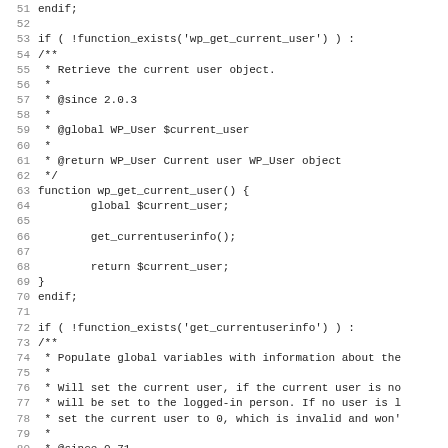Code listing showing PHP functions wp_get_current_user and get_currentuserinfo, lines 51-83
51 endif;
52 
53 if ( !function_exists('wp_get_current_user') ) :
54 /**
55  * Retrieve the current user object.
56  *
57  * @since 2.0.3
58  *
59  * @global WP_User $current_user
60  *
61  * @return WP_User Current user WP_User object
62  */
63 function wp_get_current_user() {
64         global $current_user;
65 
66         get_currentuserinfo();
67 
68         return $current_user;
69 }
70 endif;
71 
72 if ( !function_exists('get_currentuserinfo') ) :
73 /**
74  * Populate global variables with information about the
75  *
76  * Will set the current user, if the current user is no
77  * will be set to the logged-in person. If no user is l
78  * set the current user to 0, which is invalid and won'
79  *
80  * @since 0.71
81  *
82  * @global WP_User $current_user Checks if the current
83  *